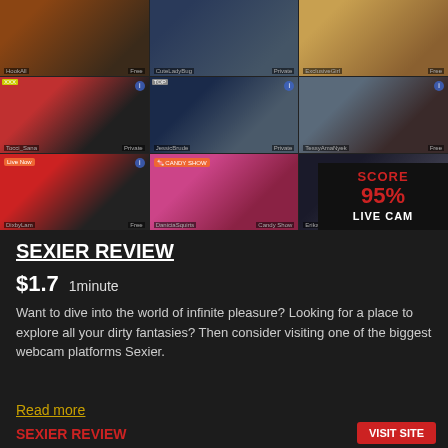[Figure (screenshot): Grid of webcam live stream thumbnails showing various models, with a score overlay box in bottom-right showing SCORE 95% LIVE CAM]
SEXIER REVIEW
$1.7   1minute
Want to dive into the world of infinite pleasure? Looking for a place to explore all your dirty fantasies? Then consider visiting one of the biggest webcam platforms Sexier.
Read more
SEXIER REVIEW